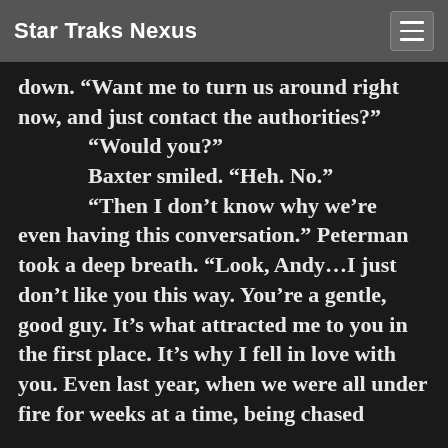Star Traks Nexus
down. “Want me to turn us around right now, and just contact the authorities?” “Would you?” Baxter smiled. “Heh. No.” “Then I don’t know why we’re even having this conversation.” Peterman took a deep breath. “Look, Andy…I just don’t like you this way. You’re a gentle, good guy. It’s what attracted me to you in the first place. It’s why I fell in love with you. Even last year, when we were all under fire for weeks at a time, being chased